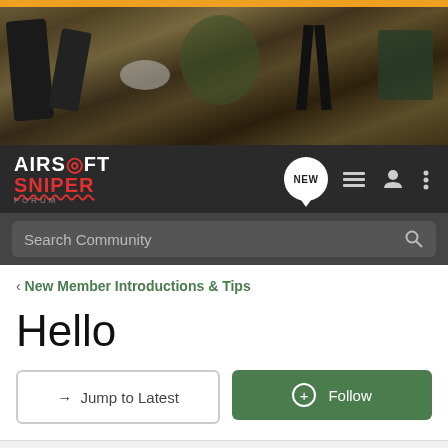[Figure (photo): Banner image showing airsoft equipment including magazines, BB pellets, camouflage netting, gun parts on a sandy/burlap surface]
[Figure (logo): Airsoft Sniper Forum logo with white and red text on dark navbar background with NEW chat badge and navigation icons]
Search Community
< New Member Introductions & Tips
Hello
→ Jump to Latest
+ Follow
1 - 6 of 6 Posts
ussak · Registered
Joined Mar 7, 2012 · 25 Posts